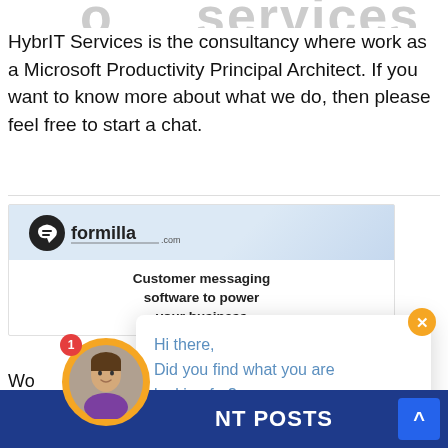[Figure (screenshot): Partial logo text at top of page, cropped, showing large gray letters]
HybrIT Services is the consultancy where work as a Microsoft Productivity Principal Architect. If you want to know more about what we do, then please feel free to start a chat.
[Figure (screenshot): Formilla.com advertisement box showing logo and tagline 'Customer messaging software to power your business']
[Figure (screenshot): Formilla chat popup widget showing message: 'Hi there, Did you find what you are looking for? I'm available to answer your questions.' with orange close button and agent avatar at bottom]
Wo... function on yo...
NT POSTS